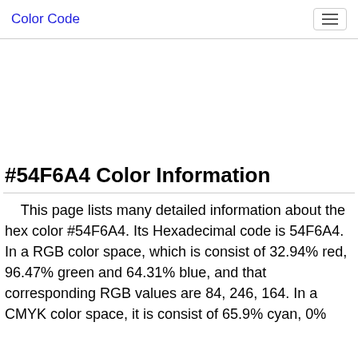Color Code
#54F6A4 Color Information
This page lists many detailed information about the hex color #54F6A4. Its Hexadecimal code is 54F6A4. In a RGB color space, which is consist of 32.94% red, 96.47% green and 64.31% blue, and that corresponding RGB values are 84, 246, 164. In a CMYK color space, it is consist of 65.9% cyan, 0%